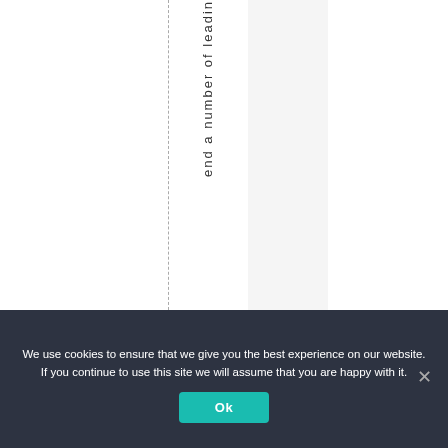[Figure (other): A table or chart area with dashed vertical column dividers and rotated vertical text reading 'end a number of leadin' (partial, cropped at top and bottom)]
We use cookies to ensure that we give you the best experience on our website. If you continue to use this site we will assume that you are happy with it.